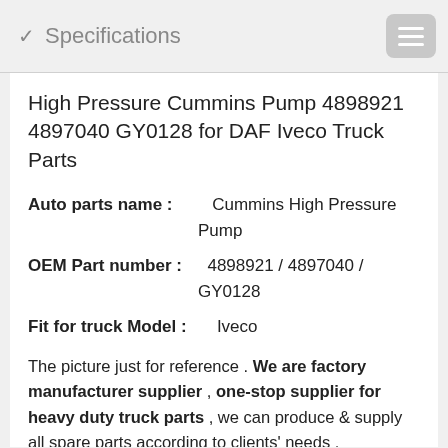✓ Specifications
High Pressure Cummins Pump 4898921 4897040 GY0128 for DAF Iveco Truck Parts
Auto parts name : Cummins High Pressure Pump
OEM Part number : 4898921 / 4897040 / GY0128
Fit for truck Model : Iveco
The picture just for reference . We are factory manufacturer supplier , one-stop supplier for heavy duty truck parts , we can produce & supply all spare parts according to clients' needs .
All Europ truck spare parts are available for us .We are the professional supplier of heavy duty truck Parts . High quality products & competitive price .